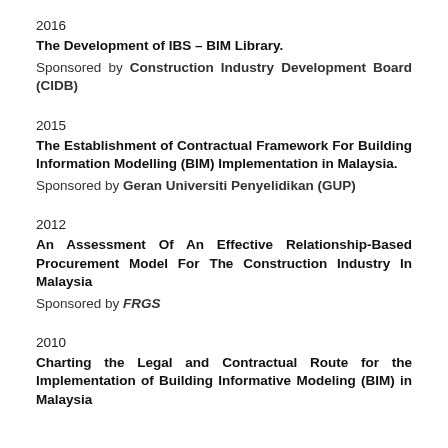2016
The Development of IBS – BIM Library.
Sponsored by Construction Industry Development Board (CIDB)
2015
The Establishment of Contractual Framework For Building Information Modelling (BIM) Implementation in Malaysia.
Sponsored by Geran Universiti Penyelidikan (GUP)
2012
An Assessment Of An Effective Relationship-Based Procurement Model For The Construction Industry In Malaysia
Sponsored by FRGS
2010
Charting the Legal and Contractual Route for the Implementation of Building Informative Modeling (BIM) in Malaysia